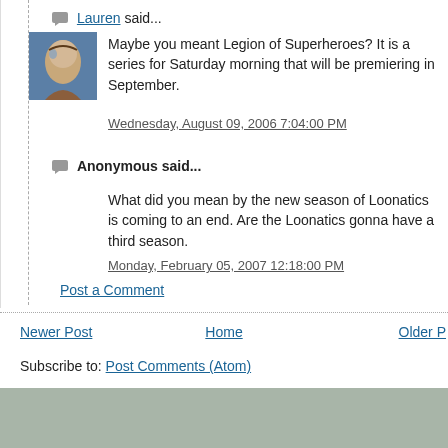Lauren said...
[Figure (photo): Avatar image of Lauren - illustrated portrait of a person]
Maybe you meant Legion of Superheroes? It is a series for Saturday morning that will be premiering in September.
Wednesday, August 09, 2006 7:04:00 PM
Anonymous said...
What did you mean by the new season of Loonatics is coming to an end. Are the Loonatics gonna have a third season.
Monday, February 05, 2007 12:18:00 PM
Post a Comment
Newer Post | Home | Older Post
Subscribe to: Post Comments (Atom)